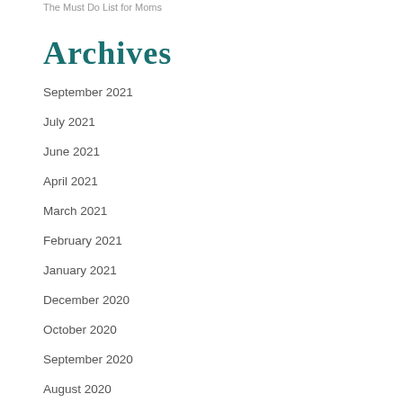The Must Do List for Moms
Archives
September 2021
July 2021
June 2021
April 2021
March 2021
February 2021
January 2021
December 2020
October 2020
September 2020
August 2020
June 2020
April 2020